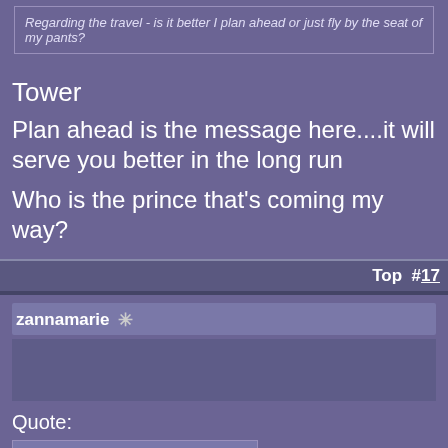Regarding the travel - is it better I plan ahead or just fly by the seat of my pants?
Tower
Plan ahead is the message here....it will serve you better in the long run
Who is the prince that's coming my way?
Top  #17
zannamarie  ✳
Quote:
Originally Posted by strangebrew ▶